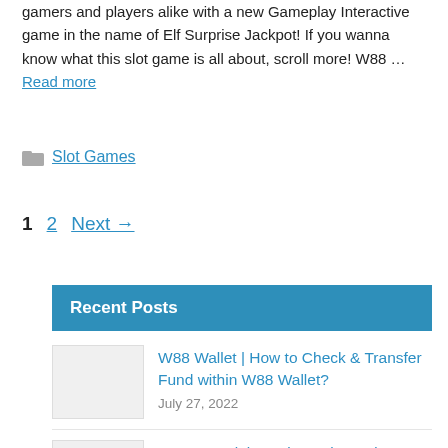gamers and players alike with a new Gameplay Interactive game in the name of Elf Surprise Jackpot! If you wanna know what this slot game is all about, scroll more! W88 … Read more
Slot Games
1  2  Next →
Recent Posts
W88 Wallet | How to Check & Transfer Fund within W88 Wallet?
July 27, 2022
W88 VIB Club – Win Apple products